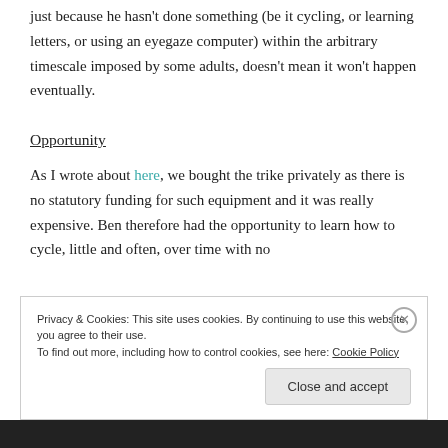just because he hasn't done something (be it cycling, or learning letters, or using an eyegaze computer) within the arbitrary timescale imposed by some adults, doesn't mean it won't happen eventually.
Opportunity
As I wrote about here, we bought the trike privately as there is no statutory funding for such equipment and it was really expensive. Ben therefore had the opportunity to learn how to cycle, little and often, over time with no
Privacy & Cookies: This site uses cookies. By continuing to use this website, you agree to their use.
To find out more, including how to control cookies, see here: Cookie Policy
Close and accept